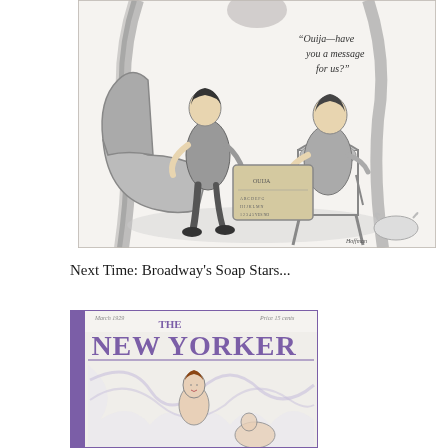[Figure (illustration): A black and white cartoon illustration showing two people seated around a small table with a Ouija board. One person sits on a couch/chaise lounge on the left, the other on a chair on the right. A speech bubble or caption in the upper right reads: "Ouija — have you a message for us?" A small cat or animal is visible at lower right. Artist signature visible at lower right.]
Next Time: Broadway's Soap Stars...
[Figure (illustration): The New Yorker magazine cover showing 'THE NEW YORKER' masthead in purple/violet text, with an illustration of a woman with art deco styling. The cover shows 'March 1929' and 'Price 15 cents' text. Purple spine visible on the left.]